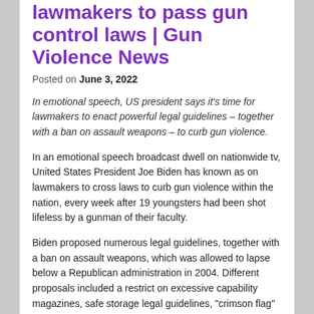lawmakers to pass gun control laws | Gun Violence News
Posted on June 3, 2022
In emotional speech, US president says it's time for lawmakers to enact powerful legal guidelines – together with a ban on assault weapons – to curb gun violence.
In an emotional speech broadcast dwell on nationwide tv, United States President Joe Biden has known as on lawmakers to cross laws to curb gun violence within the nation, every week after 19 youngsters had been shot lifeless by a gunman of their faculty.
Biden proposed numerous legal guidelines, together with a ban on assault weapons, which was allowed to lapse below a Republican administration in 2004. Different proposals included a restrict on excessive capability magazines, safe storage legal guidelines, "crimson flag" legal guidelines, and the removing of safety legal